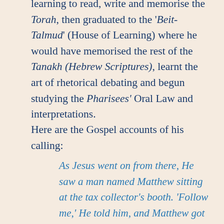learning to read, write and memorise the Torah, then graduated to the 'Beit-Talmud' (House of Learning) where he would have memorised the rest of the Tanakh (Hebrew Scriptures), learnt the art of rhetorical debating and begun studying the Pharisees' Oral Law and interpretations.
Here are the Gospel accounts of his calling:
As Jesus went on from there, He saw a man named Matthew sitting at the tax collector's booth. 'Follow me,' He told him, and Matthew got up and followed Him. And it happened that as He was reclining at the table in the house,